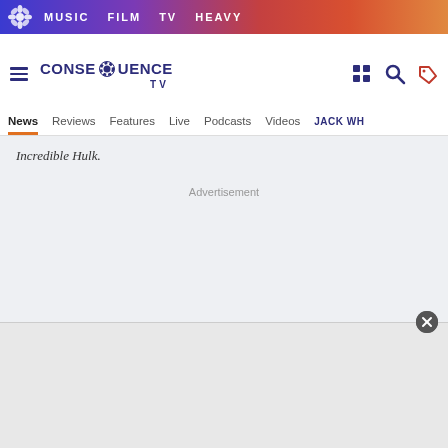MUSIC   FILM   TV   HEAVY
[Figure (logo): Consequence TV logo with gear/flower icon and text CONSEQUENCE TV]
News  Reviews  Features  Live  Podcasts  Videos  JACK WH...
Incredible Hulk.
Advertisement